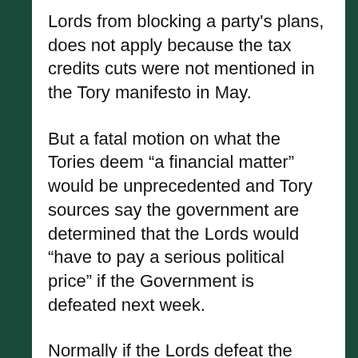Lords from blocking a party's plans, does not apply because the tax credits cuts were not mentioned in the Tory manifesto in May.
But a fatal motion on what the Tories deem “a financial matter” would be unprecedented and Tory sources say the government are determined that the Lords would “have to pay a serious political price” if the Government is defeated next week.
Normally if the Lords defeat the Government on a money-related bill, it can be overturned easily in the Commons by